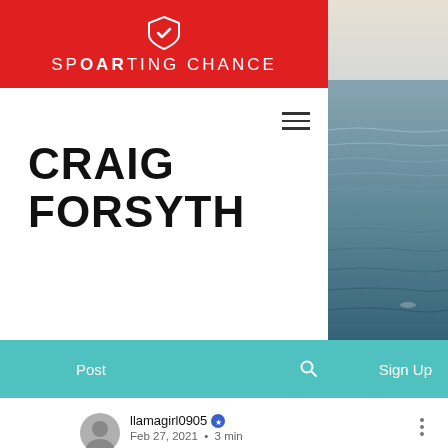SPOARTING CHANCE
CRAIG FORSYTH
Post   Search   Sign Up
llamagirl0905 • Feb 27, 2021 • 3 min